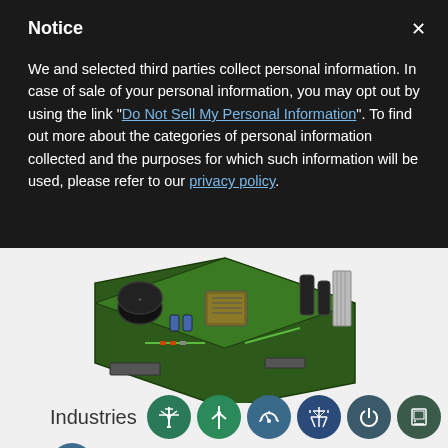Notice
We and selected third parties collect personal information. In case of sale of your personal information, you may opt out by using the link "Do Not Sell My Personal Information". To find out more about the categories of personal information collected and the purposes for which such information will be used, please refer to our privacy policy.
[Figure (photo): Open-frame PCB power supply unit with green circuit board, capacitors, inductors, and transformer components visible from an isometric angle against a white background]
Industries
[Figure (infographic): Row of 7 circular industry icons in teal/dark blue: telecommunications tower, wind turbine, meter/gauge, electrical tower, power button, server/display, and factory building]